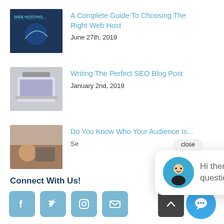A Complete Guide To Choosing The Right Web Host
June 27th, 2019
Writing The Perfect SEO Blog Post
January 2nd, 2019
Do You Know Who Your Audience Is...
Se...
[Figure (screenshot): Chat popup with avatar and message: Hi there, have a question? Text us here!]
Connect With Us!
[Figure (infographic): Social media icons: Facebook, Twitter, Instagram, Email]